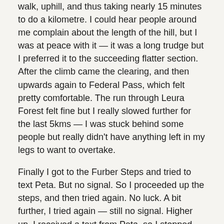walk, uphill, and thus taking nearly 15 minutes to do a kilometre. I could hear people around me complain about the length of the hill, but I was at peace with it — it was a long trudge but I preferred it to the succeeding flatter section. After the climb came the clearing, and then upwards again to Federal Pass, which felt pretty comfortable. The run through Leura Forest felt fine but I really slowed further for the last 5kms — I was stuck behind some people but really didn't have anything left in my legs to want to overtake.
Finally I got to the Furber Steps and tried to text Peta. But no signal. So I proceeded up the steps, and then tried again. No luck. A bit further, I tried again — still no signal. Higher up, I received a text from Peta, so I stopped and tried again. In the end, I got to pretty much the top and called Peta to warn her I was on the home stretch. So, top tip for any TNF 100k-ers — make better arrangements to meet at the finish. I'm not sure what else I could have done, because I was much slower over the last 5km than I expected, but at least I might have known not to bother trying any earlier. Still, I needed some rest stops on the way up, but probably not quite that many.
And then I was walking up the boardwalk to Scenic World, and saw a sign saying last 5 steps, and so started running — I bounded up